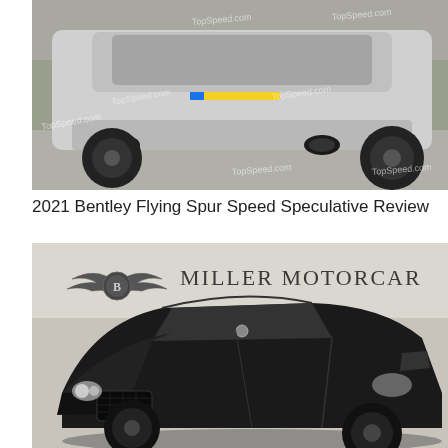[Figure (photo): Rear view of a silver Bentley Flying Spur Speed on a road, showing exhaust pipes, rear diffuser, and dark alloy wheels. TopSpeed.com watermark visible.]
2021 Bentley Flying Spur Speed Speculative Review
[Figure (photo): Front three-quarter view of a black Bentley Flying Spur Speed inside a dealership showroom. Miller Motorcar Bentley logo visible on wall behind the car.]